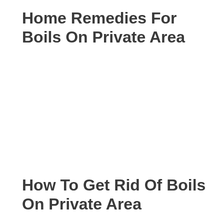Home Remedies For Boils On Private Area
How To Get Rid Of Boils On Private Area